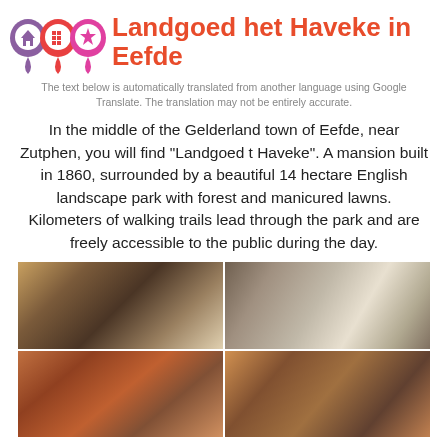Landgoed het Haveke in Eefde
The text below is automatically translated from another language using Google Translate. The translation may not be entirely accurate.
In the middle of the Gelderland town of Eefde, near Zutphen, you will find "Landgoed t Haveke". A mansion built in 1860, surrounded by a beautiful 14 hectare English landscape park with forest and manicured lawns. Kilometers of walking trails lead through the park and are freely accessible to the public during the day.
[Figure (photo): Four photos of a bed and breakfast interior: top-left shows a bed with pillows and warm lighting, top-right shows a bed with white duvet, bottom-left shows a dining area with red checkered chairs, bottom-right shows a bedside lamp and cozy seating.]